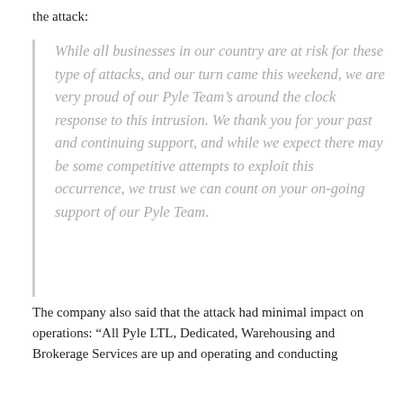the attack:
While all businesses in our country are at risk for these type of attacks, and our turn came this weekend, we are very proud of our Pyle Team’s around the clock response to this intrusion. We thank you for your past and continuing support, and while we expect there may be some competitive attempts to exploit this occurrence, we trust we can count on your on-going support of our Pyle Team.
The company also said that the attack had minimal impact on operations: “All Pyle LTL, Dedicated, Warehousing and Brokerage Services are up and operating and conducting